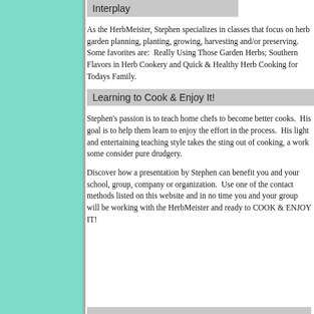Interplay
As the HerbMeister, Stephen specializes in classes that focus on herb garden planning, planting, growing, harvesting and/or preserving.  Some favorites are:  Really Using Those Garden Herbs; Southern Flavors in Herb Cookery and Quick & Healthy Herb Cooking for Todays Family.
Learning to Cook & Enjoy It!
Stephen's passion is to teach home chefs to become better cooks.  His goal is to help them learn to enjoy the effort in the process.  His light and entertaining teaching style takes the sting out of cooking, a work some consider pure drudgery.
Discover how a presentation by Stephen can benefit you and your school, group, company or organization.  Use one of the contact methods listed on this website and in no time you and your group will be working with the HerbMeister and ready to COOK & ENJOY IT!